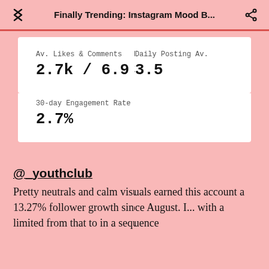Finally Trending: Instagram Mood B...
| Av. Likes & Comments | Daily Posting Av. |
| --- | --- |
| 2.7k / 6.9 | 3.5 |
30-day Engagement Rate
2.7%
@_youthclub
Pretty neutrals and calm visuals earned this account a 13.27% follower growth since August. I... with a limited from that to in a sequence